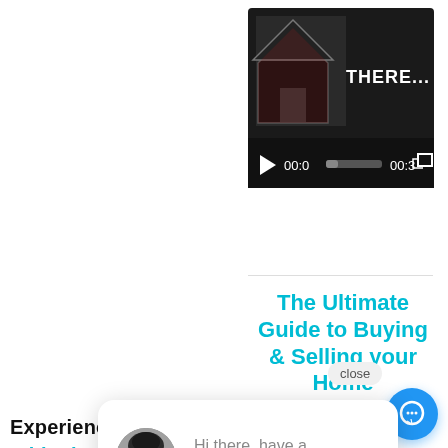[Figure (screenshot): Video player thumbnail showing a house icon and text 'THERE...' with playback controls showing 00:0 and 00:3 timestamps]
The Ultimate Guide to Buying & Selling your Home
[Figure (screenshot): Chat popup with a woman's profile photo and text 'Hi there, have a question? Text us here.' with a close button and blue chat icon]
Experience The Difference
With Therealestateuno